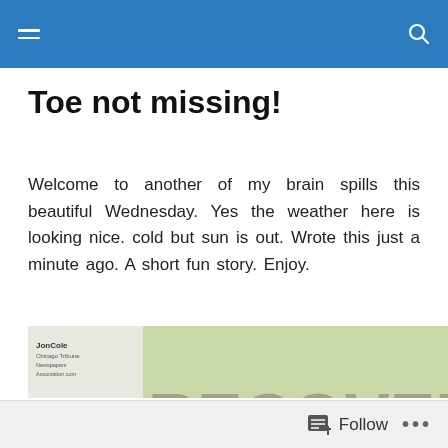Toe not missing!
Welcome to another of my brain spills this beautiful Wednesday. Yes the weather here is looking nice. cold but sun is out. Wrote this just a minute ago. A short fun story. Enjoy.
[Figure (illustration): Editorial cartoon showing a 'Recovery Room' scene with IV bags labeled 'Stock Mkt.', 'Tax Code', 'The Fed', and a speech bubble saying '...AND TELL THAT 'TAMER' NEXT DOOR TO STOP MOANING SO LOUDLY...' Cartoon credit: JonCole, Chicago Tribune.]
Follow